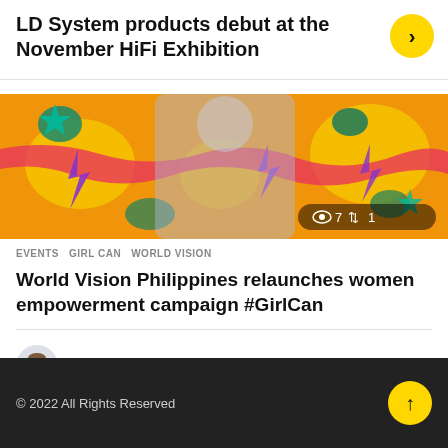LD System products debut at the November HiFi Exhibition
[Figure (illustration): Colorful abstract illustration with orange, yellow, teal, pink and purple lightning bolt and swirl patterns, with a blurred figure in center]
EVENTS  GIRL CAN  WORLD VISION
World Vision Philippines relaunches women empowerment campaign #GirlCan
by TheNewsGuy 6 days ago
© 2022 All Rights Reserved